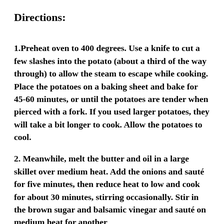Directions:
1.Preheat oven to 400 degrees. Use a knife to cut a few slashes into the potato (about a third of the way through) to allow the steam to escape while cooking. Place the potatoes on a baking sheet and bake for 45-60 minutes, or until the potatoes are tender when pierced with a fork. If you used larger potatoes, they will take a bit longer to cook. Allow the potatoes to cool.
2. Meanwhile, melt the butter and oil in a large skillet over medium heat. Add the onions and sauté for five minutes, then reduce heat to low and cook for about 30 minutes, stirring occasionally. Stir in the brown sugar and balsamic vinegar and sauté on medium heat for another